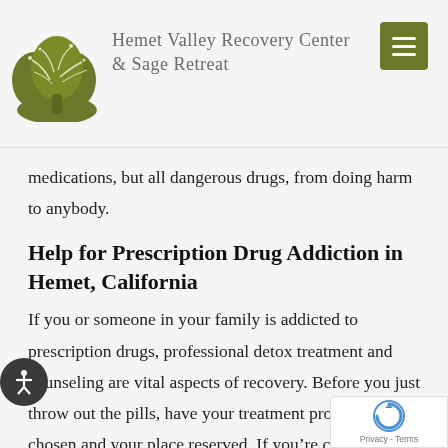Hemet Valley Recovery Center & Sage Retreat
medications, but all dangerous drugs, from doing harm to anybody.
Help for Prescription Drug Addiction in Hemet, California
If you or someone in your family is addicted to prescription drugs, professional detox treatment and counseling are vital aspects of recovery. Before you just throw out the pills, have your treatment provider chosen and your place reserved. If you’re convenient to the Inland Empire region of California, we hop